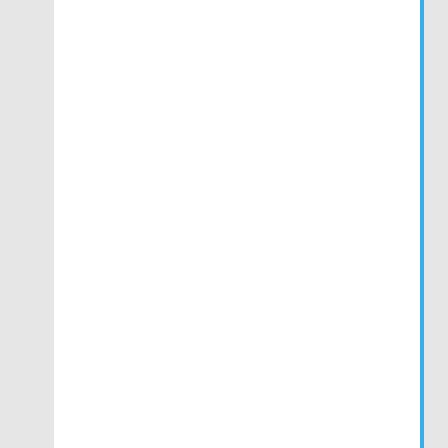2022 for Pet Lovers – SkinnyScoop.com
This is arguably North America's largest non-profit adoption site for pets and boasts of thirteen thousand and nine hundred private and public animal shelters and humane societies who post their pets for adoption. Reddit-Pets. This is another fantastic pet blog which offers up-to-date information on all pets. Vetstreet. (8)
Pet Product Reviews,